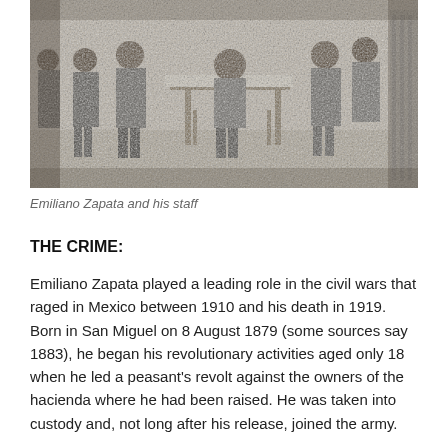[Figure (photo): Black and white historical photograph of Emiliano Zapata and his staff, showing a group of men seated and standing around a table.]
Emiliano Zapata and his staff
THE CRIME:
Emiliano Zapata played a leading role in the civil wars that raged in Mexico between 1910 and his death in 1919. Born in San Miguel on 8 August 1879 (some sources say 1883), he began his revolutionary activities aged only 18 when he led a peasant's revolt against the owners of the hacienda where he had been raised. He was taken into custody and, not long after his release, joined the army.